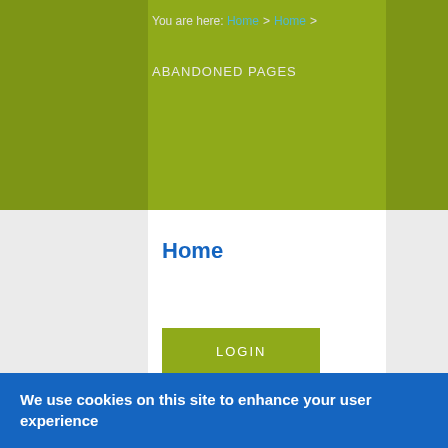You are here: Home > Home > ABANDONED PAGES
Home
LOGIN
Midwives Alliance of North America
We use cookies on this site to enhance your user experience